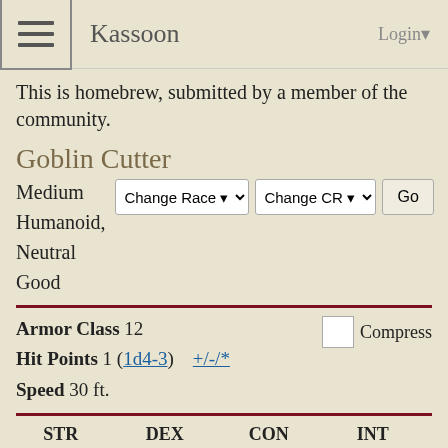Kassoon   Login▾
This is homebrew, submitted by a member of the community.
Goblin Cutter
Medium Humanoid, Neutral Good
Armor Class 12
Hit Points 1 (1d4-3)
Speed 30 ft.
| STR | DEX | CON | INT | WIS | CHA |
| --- | --- | --- | --- | --- | --- |
| 8 (-1) | 16 (+3) | 5 (-3) | 10 (+0) |  |  |
| WIS | CHA |  |  |  |  |
Top